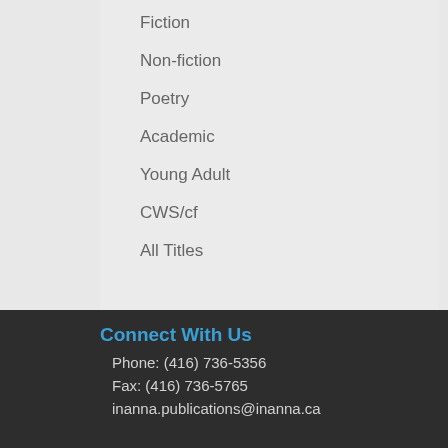Fiction
Non-fiction
Poetry
Academic
Young Adult
CWS/cf
All Titles
Connect With Us
Phone: (416) 736-5356
Fax: (416) 736-5765
inanna.publications@inanna.ca